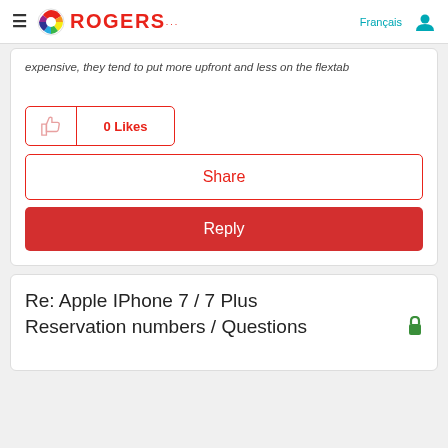Rogers - Français
expensive, they tend to put more upfront and less on the flextab
[Figure (other): 0 Likes button with thumbs up icon, Share button, and Reply button]
Re: Apple IPhone 7 / 7 Plus Reservation numbers / Questions